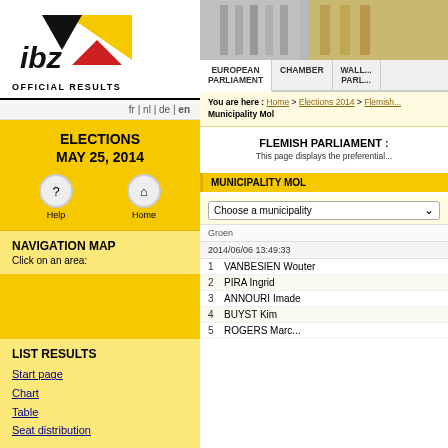[Figure (logo): IBZ logo with black and yellow triangles and red triangle, text OFFICIAL RESULTS below]
fr | nl | de | en
ELECTIONS
MAY 25, 2014
Help    Home
NAVIGATION MAP
Click on an area:
LIST RESULTS
Start page
Chart
Table
Seat distribution
[Figure (photo): Header image showing grey architectural structure]
EUROPEAN PARLIAMENT    CHAMBER    WALL... PARL...
You are here : Home > Elections 2014 > Flemish... Municipality Mol
FLEMISH PARLIAMENT :
This page displays the preferential...
MUNICIPALITY MOL
Choose a municipality
Groen
2014/06/06 13:49:33
1    VANBESIEN Wouter
2    PIRA Ingrid
3    ANNOURI Imade
4    BUYST Kim
5    ROGERS Marc...